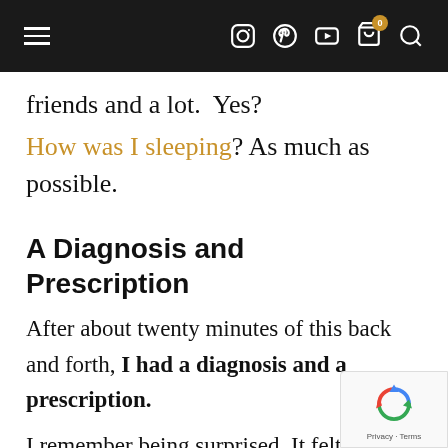Navigation bar with hamburger menu, social icons (Instagram, Pinterest, YouTube), cart with badge 0, search icon
friends and a lot.  Yes?
How was I sleeping? As much as possible.
A Diagnosis and Prescription
After about twenty minutes of this back and forth, I had a diagnosis and a prescription.
I remember being surprised. It felt